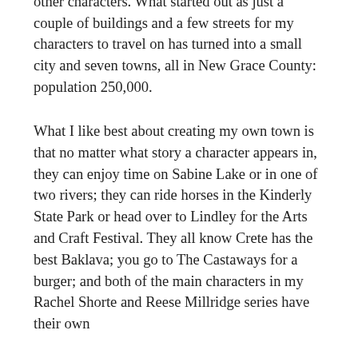the ability to grow my location as I do all my other characters. What started out as just a couple of buildings and a few streets for my characters to travel on has turned into a small city and seven towns, all in New Grace County: population 250,000.
What I like best about creating my own town is that no matter what story a character appears in, they can enjoy time on Sabine Lake or in one of two rivers; they can ride horses in the Kinderly State Park or head over to Lindley for the Arts and Craft Festival. They all know Crete has the best Baklava; you go to The Castaways for a burger; and both of the main characters in my Rachel Shorte and Reese Millridge series have their own